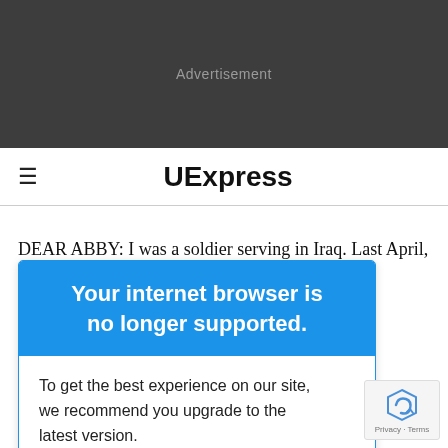[Figure (other): Dark gray advertisement banner with 'Advertisement' text]
UExpress
DEAR ABBY: I was a soldier serving in Iraq. Last April, I
Your internet browser is no longer supported.
To get the best experience on our site, we recommend you upgrade to the latest version.